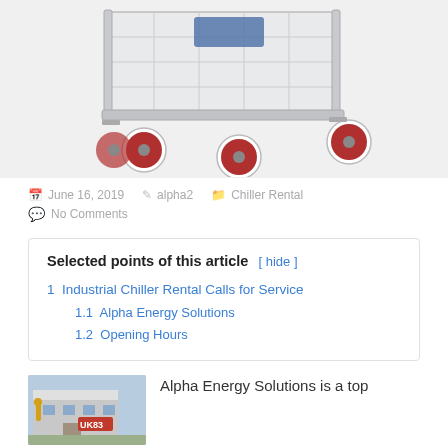[Figure (photo): Industrial cart or dolly with red wheels on white background]
June 16, 2019   alpha2   Chiller Rental
No Comments
Selected points of this article [ hide ]
1 Industrial Chiller Rental Calls for Service
1.1 Alpha Energy Solutions
1.2 Opening Hours
[Figure (photo): Building exterior with UK83 sign]
Alpha Energy Solutions is a top